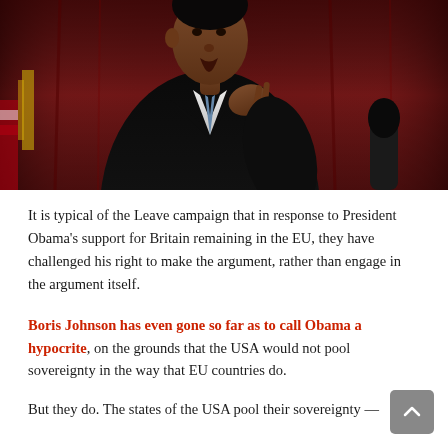[Figure (photo): Photograph of President Obama in a black suit speaking, with a red curtain backdrop and a microphone visible at the lower right.]
It is typical of the Leave campaign that in response to President Obama's support for Britain remaining in the EU, they have challenged his right to make the argument, rather than engage in the argument itself.
Boris Johnson has even gone so far as to call Obama a hypocrite, on the grounds that the USA would not pool sovereignty in the way that EU countries do.
But they do. The states of the USA pool their sovereignty —